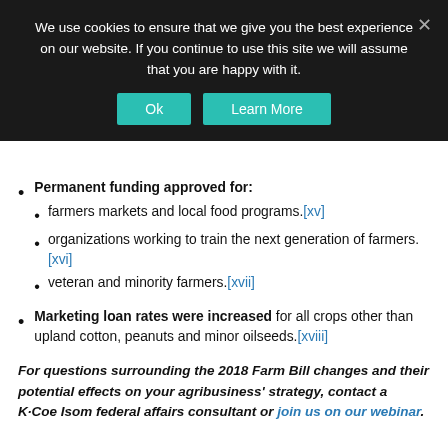[Figure (screenshot): Cookie consent banner with dark background, message text, Ok and Learn More buttons, and close X button]
Permanent funding approved for: farmers markets and local food programs.[xv] organizations working to train the next generation of farmers.[xvi] veteran and minority farmers.[xvii]
Marketing loan rates were increased for all crops other than upland cotton, peanuts and minor oilseeds.[xviii]
For questions surrounding the 2018 Farm Bill changes and their potential effects on your agribusiness' strategy, contact a K·Coe Isom federal affairs consultant or join us on our webinar.